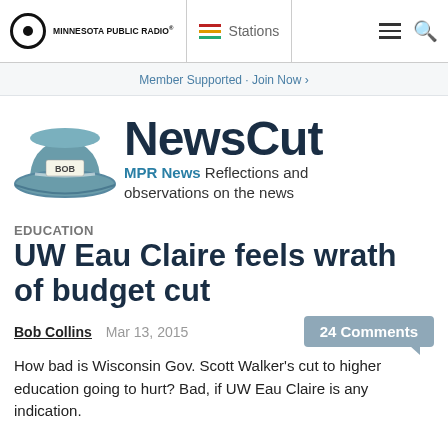Minnesota Public Radio® | Stations
Member Supported · Join Now ›
[Figure (logo): NewsCut logo with a grey fedora hat with 'BOB' label and the text 'NewsCut' in dark navy bold font. Subtitle: 'MPR News Reflections and observations on the news']
Education
UW Eau Claire feels wrath of budget cut
Bob Collins   Mar 13, 2015   24 Comments
How bad is Wisconsin Gov. Scott Walker's cut to higher education going to hurt? Bad, if UW Eau Claire is any indication.